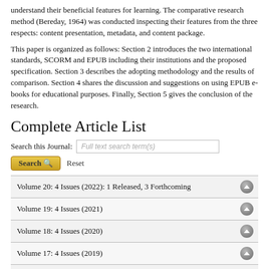understand their beneficial features for learning. The comparative research method (Bereday, 1964) was conducted inspecting their features from the three respects: content presentation, metadata, and content package.
This paper is organized as follows: Section 2 introduces the two international standards, SCORM and EPUB including their institutions and the proposed specification. Section 3 describes the adopting methodology and the results of comparison. Section 4 shares the discussion and suggestions on using EPUB e-books for educational purposes. Finally, Section 5 gives the conclusion of the research.
Complete Article List
Search this Journal: [Full text search term(s)]
Search  Reset
Volume 20: 4 Issues (2022): 1 Released, 3 Forthcoming
Volume 19: 4 Issues (2021)
Volume 18: 4 Issues (2020)
Volume 17: 4 Issues (2019)
Volume 16: 4 Issues (2018)
Volume 15: 4 Issues (2017)